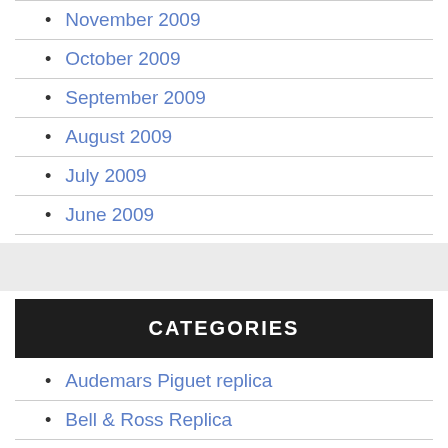November 2009
October 2009
September 2009
August 2009
July 2009
June 2009
CATEGORIES
Audemars Piguet replica
Bell & Ross Replica
Bell Ross Replica
Breitling Replica